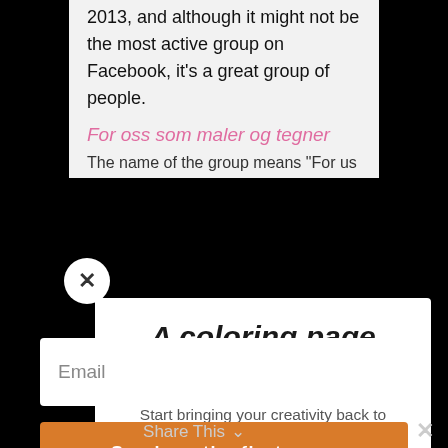2013, and although it might not be the most active group on Facebook, it's a great group of people.
For oss som maler og tegner
The name of the group means "For us...
A coloring page aweek
Start bringing your creativity back to health in an easy and relaxing way. Get a colouring page every week for a 12 weeks.
Email
Send me the first page
Share This